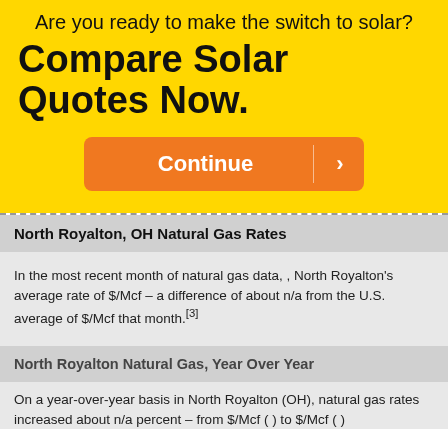Are you ready to make the switch to solar?
Compare Solar Quotes Now.
[Figure (other): Orange Continue button with arrow]
North Royalton, OH Natural Gas Rates
In the most recent month of natural gas data, , North Royalton's average rate of $/Mcf – a difference of about n/a from the U.S. average of $/Mcf that month.[3]
North Royalton Natural Gas, Year Over Year
On a year-over-year basis in North Royalton (OH), natural gas rates increased about n/a percent – from $/Mcf ( ) to $/Mcf ( )